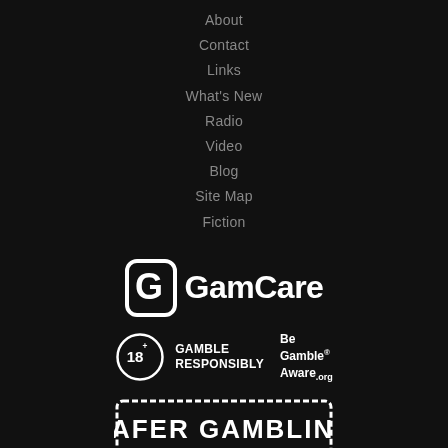About
Contact
Links
What's New
Radio
Video
Blog
Site Map
Fiction
[Figure (logo): GamCare logo with stylized G icon and GamCare text in white]
[Figure (logo): 18+ Gamble Responsibly logo with circle badge]
[Figure (logo): Be Gamble Aware .org logo]
[Figure (logo): Safer Gambling badge with stamp-style border]